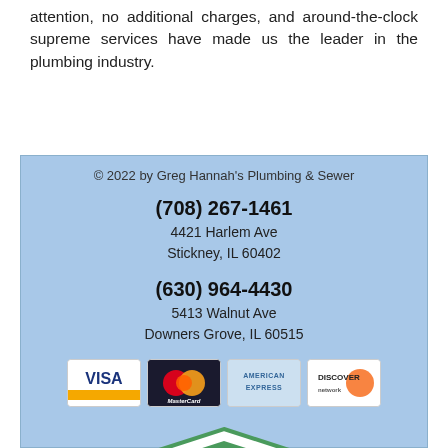attention, no additional charges, and around-the-clock supreme services have made us the leader in the plumbing industry.
© 2022 by Greg Hannah's Plumbing & Sewer
(708) 267-1461
4421 Harlem Ave
Stickney, IL 60402
(630) 964-4430
5413 Walnut Ave
Downers Grove, IL 60515
[Figure (logo): Payment method logos: Visa, MasterCard, American Express, Discover]
[Figure (logo): Angie's List 2020 Super Service Award badge]